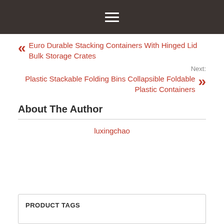Menu (hamburger icon)
« Euro Durable Stacking Containers With Hinged Lid Bulk Storage Crates
Next: Plastic Stackable Folding Bins Collapsible Foldable Plastic Containers »
About The Author
luxingchao
PRODUCT TAGS